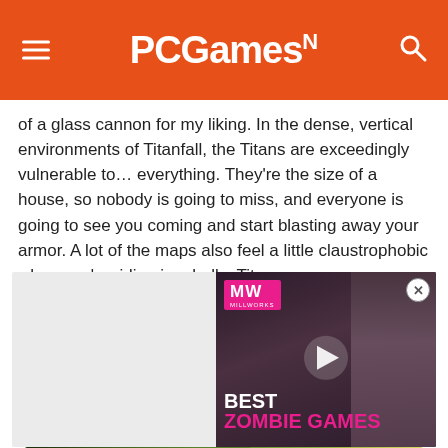PCGamesN
of a glass cannon for my liking. In the dense, vertical environments of Titanfall, the Titans are exceedingly vulnerable to… everything. They're the size of a house, so nobody is going to miss, and everyone is going to see you coming and start blasting away your armor. A lot of the maps also feel a little claustrophobic when you're riding in a bulky Titan.
[Figure (screenshot): Video advertisement panel showing 'BEST ZOMBIE GAMES' with MW logo and play button, featuring a character from a zombie game. Gray placeholder on left side with close button.]
[Figure (photo): Banner advertisement for Wolf game showing wolves in a field with text 'THE HUNT IS ON!' in gold letters on a green landscape background.]